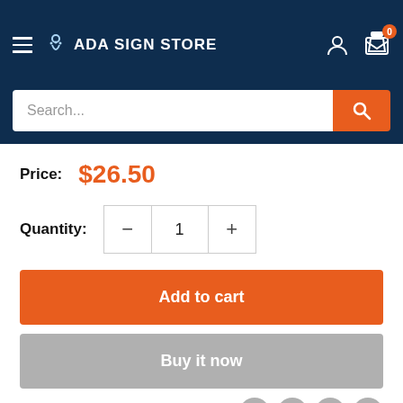ADA SIGN STORE
Search...
Price: $26.50
Quantity: 1
Add to cart
Buy it now
Share this product